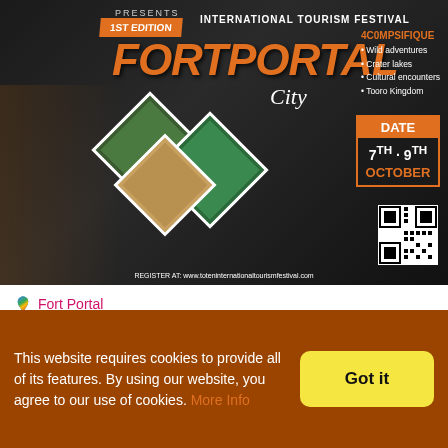[Figure (illustration): Festival promotional poster for TOOTEN International Tourism Festival, Fort Portal City. Black background with orange text. Shows '1ST EDITION', 'INTERNATIONAL TOURISM FESTIVAL', 'FORTPORTAL City' in large orange italic font. Right side lists attractions: Wild adventures, Crater lakes, Cultural encounters, Tooro Kingdom. Date box shows 7TH-9TH OCTOBER. QR code at bottom right. Register at: www.toteninternationaltourismfestival.com]
Fort Portal
TIO TEN INTERNATIONAL TOURISM FESTIVAL
Not rated  •  0 Review
This website requires cookies to provide all of its features. By using our website, you agree to our use of cookies. More Info